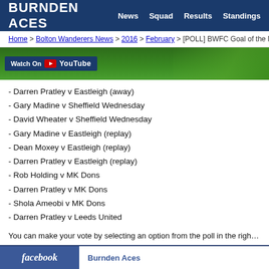BURNDEN ACES  News  Squad  Results  Standings
Home > Bolton Wanderers News > 2016 > February > [POLL] BWFC Goal of the M
[Figure (photo): Cropped photo strip showing a football/soccer grass pitch with YouTube Watch On overlay badge]
- Darren Pratley v Eastleigh (away)
- Gary Madine v Sheffield Wednesday
- David Wheater v Sheffield Wednesday
- Gary Madine v Eastleigh (replay)
- Dean Moxey v Eastleigh (replay)
- Darren Pratley v Eastleigh (replay)
- Rob Holding v MK Dons
- Darren Pratley v MK Dons
- Shola Ameobi v MK Dons
- Darren Pratley v Leeds United
You can make your vote by selecting an option from the poll in the right-hand colum
We will release the results on Monday, with the winner being entered into our annu
facebook  Burnden Aces